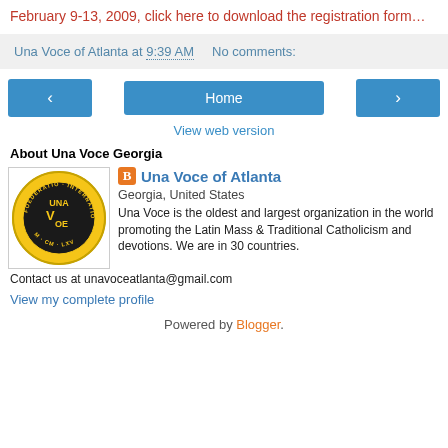February 9-13, 2009, click here to download the registration form…
Una Voce of Atlanta at 9:39 AM   No comments:
‹  Home  ›  View web version
About Una Voce Georgia
Una Voce of Atlanta
Georgia, United States
Una Voce is the oldest and largest organization in the world promoting the Latin Mass & Traditional Catholicism and devotions. We are in 30 countries. Contact us at unavoceatlanta@gmail.com
View my complete profile
Powered by Blogger.